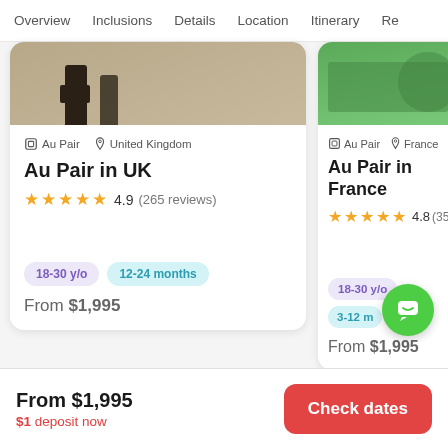Overview  Inclusions  Details  Location  Itinerary  Re
[Figure (screenshot): Travel listing card for Au Pair in UK with sandy terrain photo, showing Au Pair and United Kingdom tags, 4.9 stars (265 reviews), age 18-30 y/o and 12-24 months tags, From $1,995 price]
Au Pair  United Kingdom
Au Pair in UK
4.9 (265 reviews)
18-30 y/o   12-24 months
From $1,995
[Figure (screenshot): Partial travel listing card for Au Pair in France with green hedge photo, showing Au Pair and France tags, 4.8 stars (35x reviews), age 18-30 y/o and 3-12 months tag, From $1,995 price]
Au Pair  France
Au Pair in France
4.8 (35...)
18-30 y/o   3-12 m
From $1,995
From $1,995
$1 deposit now
Check dates